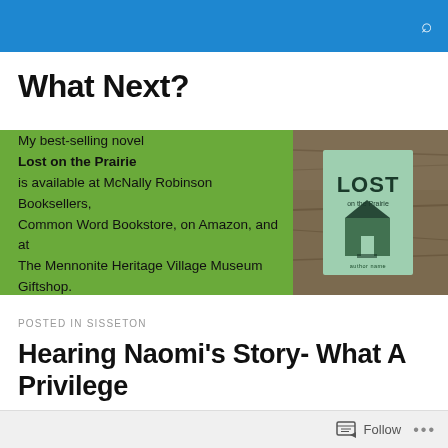What Next? [blue header bar with search icon]
What Next?
[Figure (infographic): Green promotional banner with text about the novel Lost on the Prairie being available at McNally Robinson Booksellers, Common Word Bookstore, on Amazon, and at The Mennonite Heritage Village Museum Giftshop. On the right side is a photo of the book cover titled LOST on the Prairie sitting on a wooden surface.]
My best-selling novel Lost on the Prairie is available at McNally Robinson Booksellers, Common Word Bookstore, on Amazon, and at The Mennonite Heritage Village Museum Giftshop.
POSTED IN SISSETON
Hearing Naomi’s Story- What A Privilege
Follow ...